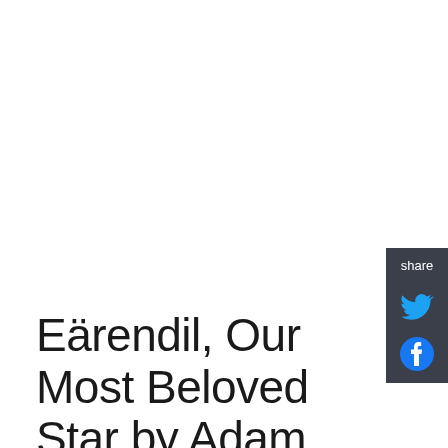[Figure (other): Share panel with Twitter and Facebook social media icons on dark background]
Eärendil, Our Most Beloved Star by Adam North
Jimmy Byers, a failed startup founder, gets a job working for reclusive billionaire Felix Marshall, whose